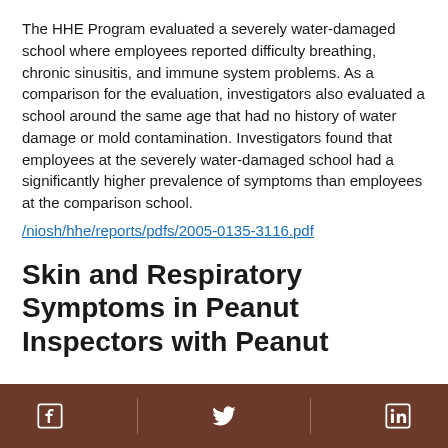The HHE Program evaluated a severely water-damaged school where employees reported difficulty breathing, chronic sinusitis, and immune system problems. As a comparison for the evaluation, investigators also evaluated a school around the same age that had no history of water damage or mold contamination. Investigators found that employees at the severely water-damaged school had a significantly higher prevalence of symptoms than employees at the comparison school. /niosh/hhe/reports/pdfs/2005-0135-3116.pdf
Skin and Respiratory Symptoms in Peanut Inspectors with Peanut
Facebook | Twitter | LinkedIn